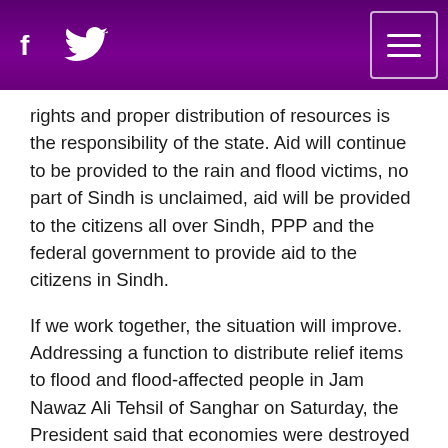Facebook icon, Twitter icon, Hamburger menu
rights and proper distribution of resources is the responsibility of the state. Aid will continue to be provided to the rain and flood victims, no part of Sindh is unclaimed, aid will be provided to the citizens all over Sindh, PPP and the federal government to provide aid to the citizens in Sindh.
If we work together, the situation will improve. Addressing a function to distribute relief items to flood and flood-affected people in Jam Nawaz Ali Tehsil of Sanghar on Saturday, the President said that economies were destroyed when the coronavirus spread, people lost their jobs, what happened in eastern Pakistan. In front of everyone, the government in India locked down and told people to go to their homes, the Indian government told people we have no worries about how they get to their homes and areas, meanwhile, women gave birth on the